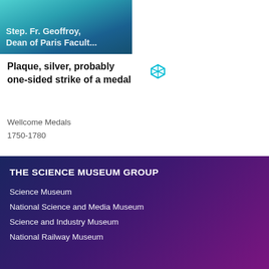[Figure (photo): Partial image of a medal/plaque with teal-blue gradient background showing partial text 'Step. Fr. Geoffroy, Dean of Paris Facult...']
Plaque, silver, probably one-sided strike of a medal
Wellcome Medals
1750-1780
Results per page: 50
« Previous  1  2
THE SCIENCE MUSEUM GROUP
Science Museum
National Science and Media Museum
Science and Industry Museum
National Railway Museum